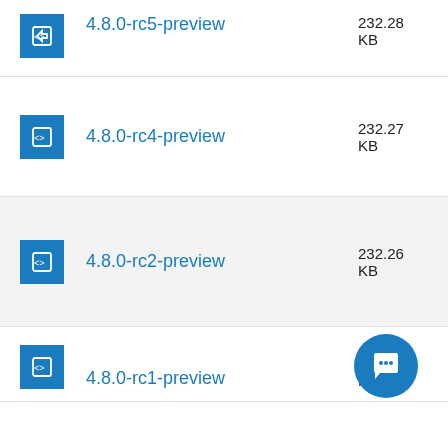4.8.0-rc5-preview — 232.28 KB
4.8.0-rc4-preview — 232.27 KB
4.8.0-rc2-preview — 232.26 KB
4.8.0-rc1-preview — KB